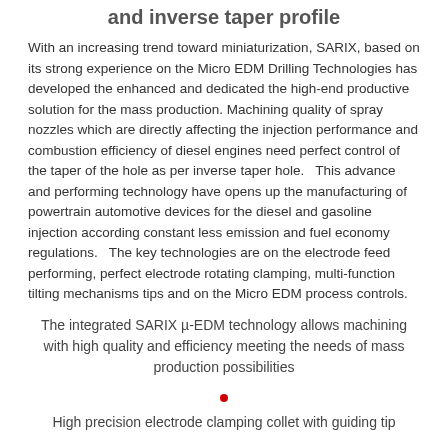and inverse taper profile
With an increasing trend toward miniaturization, SARIX, based on its strong experience on the Micro EDM Drilling Technologies has developed the enhanced and dedicated the high-end productive solution for the mass production. Machining quality of spray nozzles which are directly affecting the injection performance and combustion efficiency of diesel engines need perfect control of the taper of the hole as per inverse taper hole.  This advance and performing technology have opens up the manufacturing of powertrain automotive devices for the diesel and gasoline injection according constant less emission and fuel economy regulations.  The key technologies are on the electrode feed performing, perfect electrode rotating clamping, multi-function tilting mechanisms tips and on the Micro EDM process controls.
The integrated SARIX µ-EDM technology allows machining with high quality and efficiency meeting the needs of mass production possibilities
High precision electrode clamping collet with guiding tip